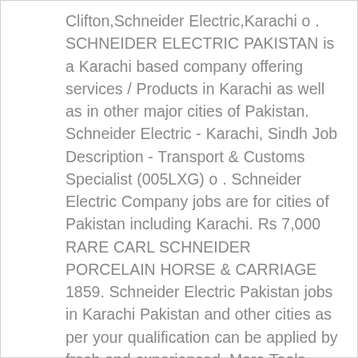Clifton,Schneider Electric,Karachi o . SCHNEIDER ELECTRIC PAKISTAN is a Karachi based company offering services / Products in Karachi as well as in other major cities of Pakistan. Schneider Electric - Karachi, Sindh Job Description - Transport & Customs Specialist (005LXG) o . Schneider Electric Company jobs are for cities of Pakistan including Karachi. Rs 7,000 RARE CARL SCHNEIDER PORCELAIN HORSE & CARRIAGE 1859. Schneider Electric Pakistan jobs in Karachi Pakistan and other cities as per your qualification can be applied by fresh and experienced. More Tools. Schneider Electric Pakistan D-163, Haroonabad, SITE, Karachi. Apply for job at Schneider Electric, Karachi. Research company on: Google - Bing - Yahoo. Search for other Electric Equipment & Supplies-Wholesale & Manufacturers in Florence on The Real Yellow Pages®. Share. All rights